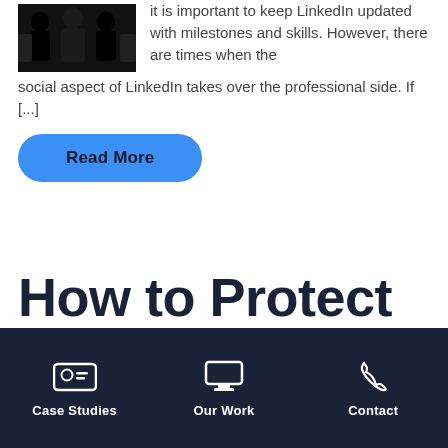[Figure (photo): Black and white group photo of people in formal attire]
it is important to keep LinkedIn updated with milestones and skills. However, there are times when the social aspect of LinkedIn takes over the professional side. If [...]
Read More
How to Protect Your WordPress
Case Studies  Our Work  Contact